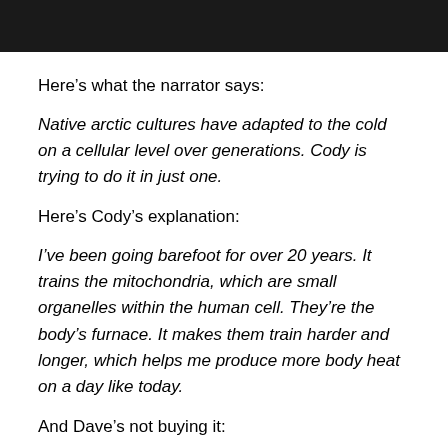[Figure (photo): Dark photo strip at top of page, partially cropped, showing a person in cold/outdoor setting]
Here's what the narrator says:
Native arctic cultures have adapted to the cold on a cellular level over generations. Cody is trying to do it in just one.
Here's Cody's explanation:
I've been going barefoot for over 20 years. It trains the mitochondria, which are small organelles within the human cell. They're the body's furnace. It makes them train harder and longer, which helps me produce more body heat on a day like today.
And Dave's not buying it:
If he chooses not to wear shoes, and not to wear pants...